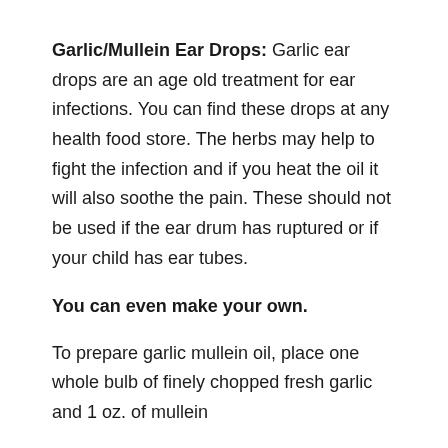Garlic/Mullein Ear Drops: Garlic ear drops are an age old treatment for ear infections. You can find these drops at any health food store. The herbs may help to fight the infection and if you heat the oil it will also soothe the pain. These should not be used if the ear drum has ruptured or if your child has ear tubes.
You can even make your own.
To prepare garlic mullein oil, place one whole bulb of finely chopped fresh garlic and 1 oz. of mullein